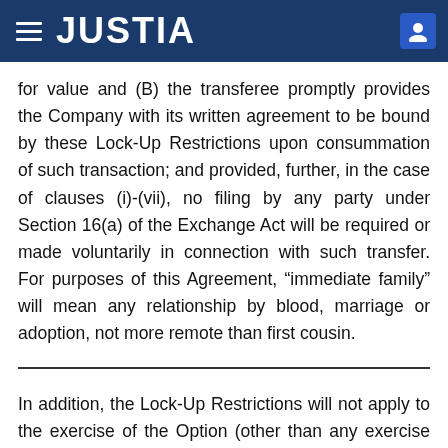JUSTIA
for value and (B) the transferee promptly provides the Company with its written agreement to be bound by these Lock-Up Restrictions upon consummation of such transaction; and provided, further, in the case of clauses (i)-(vii), no filing by any party under Section 16(a) of the Exchange Act will be required or made voluntarily in connection with such transfer. For purposes of this Agreement, “immediate family” will mean any relationship by blood, marriage or adoption, not more remote than first cousin.
In addition, the Lock-Up Restrictions will not apply to the exercise of the Option (other than any exercise that